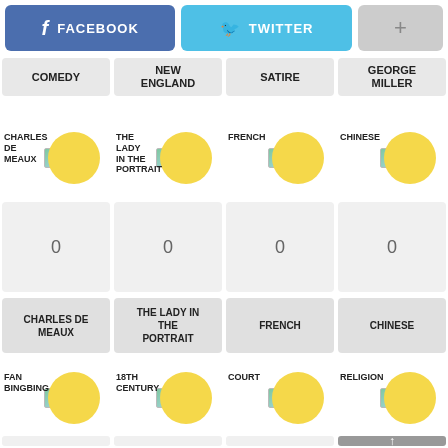[Figure (screenshot): Social share buttons: Facebook (blue), Twitter (light blue), and a plus (+) button (gray)]
COMEDY | NEW ENGLAND | SATIRE | GEORGE MILLER
[Figure (infographic): Four avatar icons with labels: CHARLES DE MEAUX, THE LADY IN THE PORTRAIT, FRENCH, CHINESE]
0 | 0 | 0 | 0
CHARLES DE MEAUX | THE LADY IN THE PORTRAIT | FRENCH | CHINESE
[Figure (infographic): Four avatar icons with labels: FAN BINGBING, 18TH CENTURY, COURT, RELIGION]
Partial count row at bottom